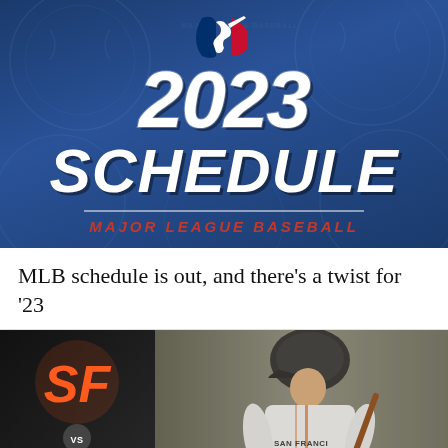[Figure (illustration): 2023 MLB Schedule promotional graphic with blue baseball-textured background, MLB silhouette batter logo at top, large white italic text '2023 SCHEDULE', red italic text 'MAJOR LEAGUE BASEBALL']
MLB schedule is out, and there’s a twist for ’23
[Figure (photo): Split image: left panel shows San Francisco Giants vs Detroit Tigers matchup graphic with orange SF logo and D logo with VS badge; right panel shows a San Francisco Giants player in gray uniform batting]